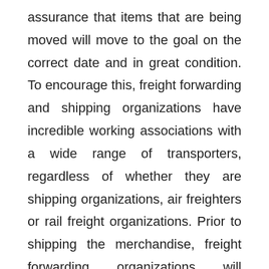assurance that items that are being moved will move to the goal on the correct date and in great condition. To encourage this, freight forwarding and shipping organizations have incredible working associations with a wide range of transporters, regardless of whether they are shipping organizations, air freighters or rail freight organizations. Prior to shipping the merchandise, freight forwarding organizations will arrange the cost for the development of the item along the most practical courses. They take a shot at different offers and pick an alternative that has the correct harmony between cost